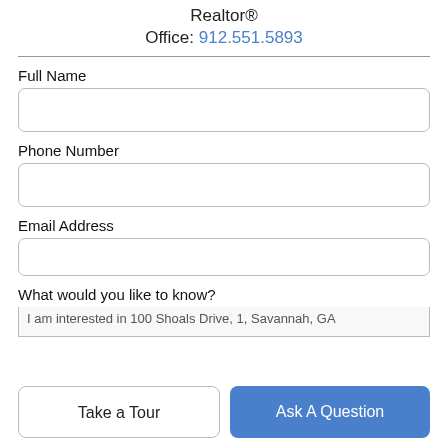Realtor®
Office: 912.551.5893
Full Name
Phone Number
Email Address
What would you like to know?
I am interested in 100 Shoals Drive, 1, Savannah, GA
Take a Tour
Ask A Question